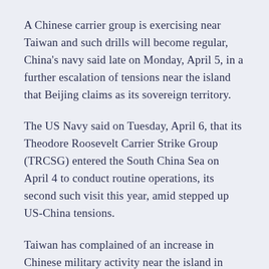A Chinese carrier group is exercising near Taiwan and such drills will become regular, China's navy said late on Monday, April 5, in a further escalation of tensions near the island that Beijing claims as its sovereign territory.
The US Navy said on Tuesday, April 6, that its Theodore Roosevelt Carrier Strike Group (TRCSG) entered the South China Sea on April 4 to conduct routine operations, its second such visit this year, amid stepped up US-China tensions.
Taiwan has complained of an increase in Chinese military activity near the island in recent months, as China steps up efforts to assert its sovereignty over the democratically